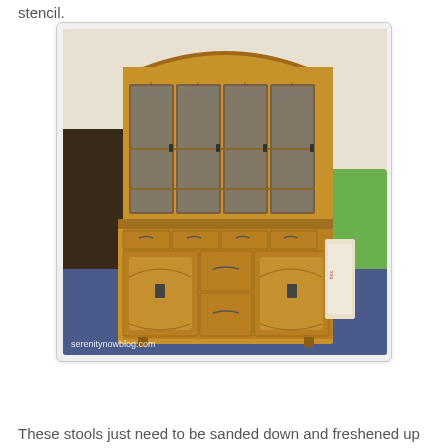stencil.
[Figure (photo): A large wooden china cabinet/hutch with glass doors on top section and solid panel doors and drawers on the bottom, photographed in what appears to be a thrift store. Watermark reads serenitynowblog.com]
These stools just need to be sanded down and freshened up